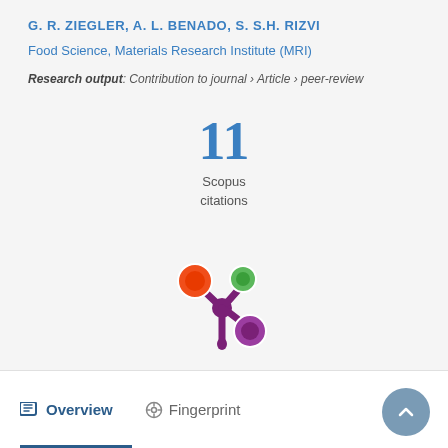G. R. ZIEGLER, A. L. BENADO, S. S.H. RIZVI
Food Science, Materials Research Institute (MRI)
Research output: Contribution to journal › Article › peer-review
[Figure (infographic): Scopus citation count badge showing 11 citations]
[Figure (logo): Altmetric logo — colorful asterisk-like icon with orange, green, and purple circles]
Overview
Fingerprint